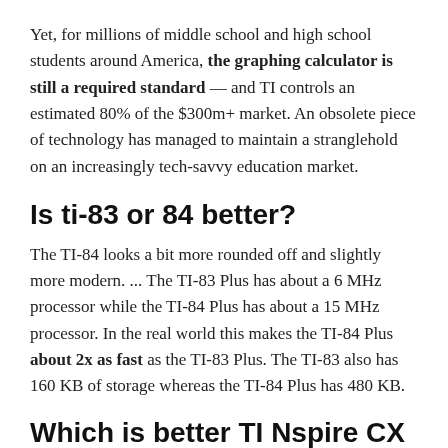Yet, for millions of middle school and high school students around America, the graphing calculator is still a required standard — and TI controls an estimated 80% of the $300m+ market. An obsolete piece of technology has managed to maintain a stranglehold on an increasingly tech-savvy education market.
Is ti-83 or 84 better?
The TI-84 looks a bit more rounded off and slightly more modern. ... The TI-83 Plus has about a 6 MHz processor while the TI-84 Plus has about a 15 MHz processor. In the real world this makes the TI-84 Plus about 2x as fast as the TI-83 Plus. The TI-83 also has 160 KB of storage whereas the TI-84 Plus has 480 KB.
Which is better TI Nspire CX or